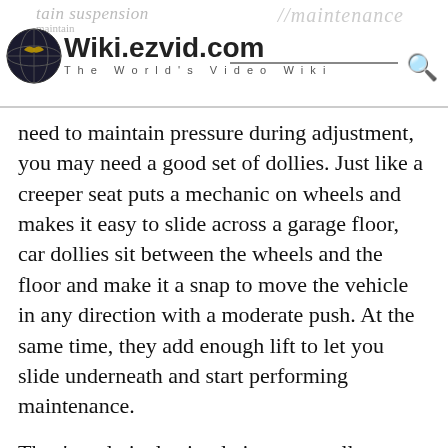Wiki.ezvid.com — The World's Video Wiki
need to maintain pressure during adjustment, you may need a good set of dollies. Just like a creeper seat puts a mechanic on wheels and makes it easy to slide across a garage floor, car dollies sit between the wheels and the floor and make it a snap to move the vehicle in any direction with a moderate push. At the same time, they add enough lift to let you slide underneath and start performing maintenance.
They're relatively simple items, usually consisting only of steel plates and high-impact polymer casters. Some models feature high-traction diamond plating, some have variable heights, and still others sport hydraulic releases for quick installation and removal without the aid of a jack. You might